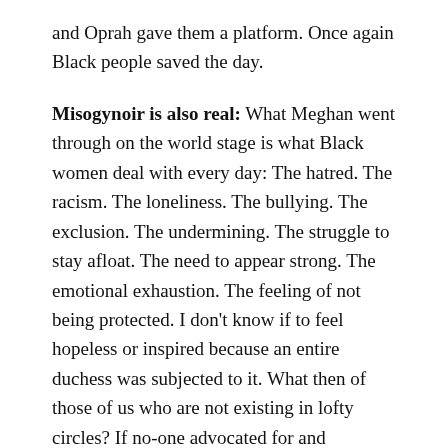and Oprah gave them a platform. Once again Black people saved the day.
Misogynoir is also real: What Meghan went through on the world stage is what Black women deal with every day: The hatred. The racism. The loneliness. The bullying. The exclusion. The undermining. The struggle to stay afloat. The need to appear strong. The emotional exhaustion. The feeling of not being protected. I don't know if to feel hopeless or inspired because an entire duchess was subjected to it. What then of those of us who are not existing in lofty circles? If no-one advocated for and protected Meghan, who will advocate for and protect us?
The world needs more Oprah: We miss you Auntie